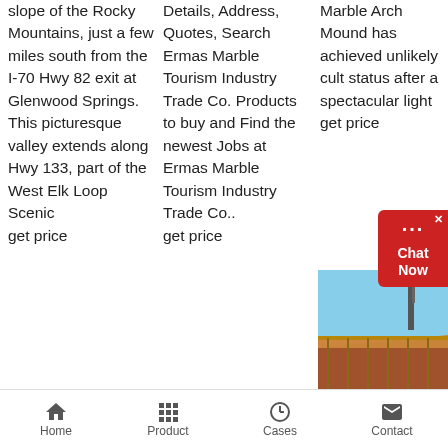slope of the Rocky Mountains, just a few miles south from the I-70 Hwy 82 exit at Glenwood Springs. This picturesque valley extends along Hwy 133, part of the West Elk Loop Scenic
get price
Details, Address, Quotes, Search Ermas Marble Tourism Industry Trade Co. Products to buy and Find the newest Jobs at Ermas Marble Tourism Industry Trade Co..
get price
Marble Arch Mound has achieved unlikely cult status after a spectacular light
get price
[Figure (photo): Construction or industrial scene with a crane visible against a blue sky, with orange/brown structural elements in the foreground]
Marble find your way and explore the world
Home   Product   Cases   Contact